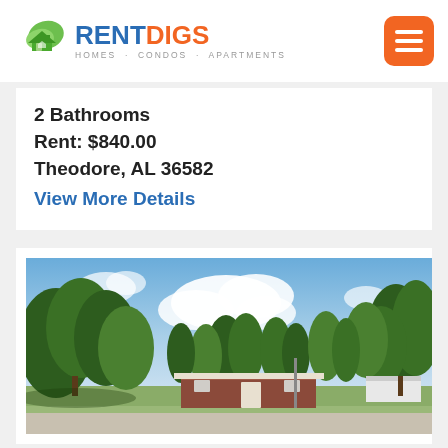RENTDIGS - HOMES · CONDOS · APARTMENTS
2 Bathrooms
Rent: $840.00
Theodore, AL 36582
View More Details
[Figure (photo): Street-level photo of a single-story brick house with large trees and partly cloudy blue sky in Theodore, AL]